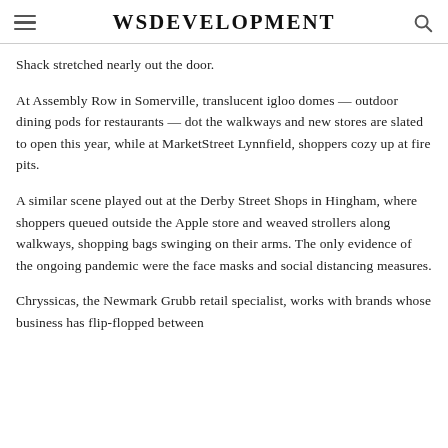WSDEVELOPMENT
Shack stretched nearly out the door.
At Assembly Row in Somerville, translucent igloo domes — outdoor dining pods for restaurants — dot the walkways and new stores are slated to open this year, while at MarketStreet Lynnfield, shoppers cozy up at fire pits.
A similar scene played out at the Derby Street Shops in Hingham, where shoppers queued outside the Apple store and weaved strollers along walkways, shopping bags swinging on their arms. The only evidence of the ongoing pandemic were the face masks and social distancing measures.
Chryssicas, the Newmark Grubb retail specialist, works with brands whose business has flip-flopped between